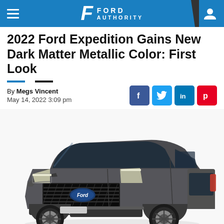Ford Authority
2022 Ford Expedition Gains New Dark Matter Metallic Color: First Look
By Megs Vincent
May 14, 2022 3:09 pm
[Figure (photo): 2022 Ford Expedition in Dark Matter Metallic color, front three-quarter view on white background]